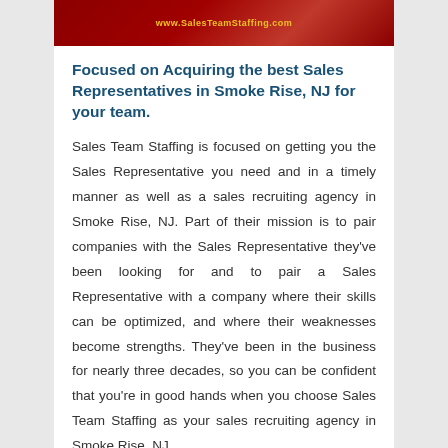[Figure (photo): Dark red banner image with a URL text 'www.SalesTeamStaffing.com' in yellow/gold color, with a partial view of a person in business attire on the right side.]
Focused on Acquiring the best Sales Representatives in Smoke Rise, NJ for your team.
Sales Team Staffing is focused on getting you the Sales Representative you need and in a timely manner as well as a sales recruiting agency in Smoke Rise, NJ. Part of their mission is to pair companies with the Sales Representative they've been looking for and to pair a Sales Representative with a company where their skills can be optimized, and where their weaknesses become strengths. They've been in the business for nearly three decades, so you can be confident that you're in good hands when you choose Sales Team Staffing as your sales recruiting agency in Smoke Rise, NJ.